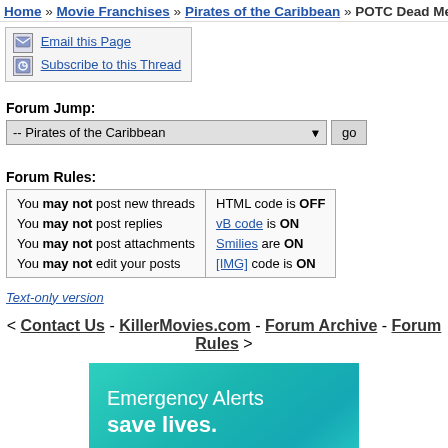Home » Movie Franchises » Pirates of the Caribbean » POTC Dead Me
Email this Page
Subscribe to this Thread
Forum Jump:
-- Pirates of the Caribbean   go
Forum Rules:
| You may not post new threads | HTML code is OFF |
| You may not post replies | vB code is ON |
| You may not post attachments | Smilies are ON |
| You may not edit your posts | [IMG] code is ON |
Text-only version
< Contact Us - KillerMovies.com - Forum Archive - Forum Rules >
[Figure (infographic): Teal/cyan gradient advertisement banner reading 'Emergency Alerts save lives.' with a 'Learn More' button]